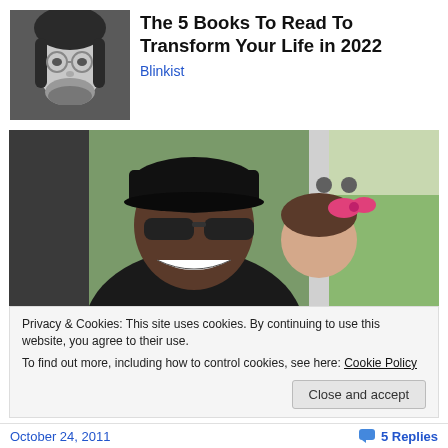[Figure (photo): Black and white headshot of a young man with long hair and glasses]
The 5 Books To Read To Transform Your Life in 2022
Blinkist
[Figure (photo): Photo of a man wearing a black cap and sunglasses smiling with a child with a pink bow in her hair, taken outdoors near a vehicle]
Privacy & Cookies: This site uses cookies. By continuing to use this website, you agree to their use.
To find out more, including how to control cookies, see here: Cookie Policy
Close and accept
October 24, 2011   💬 5 Replies